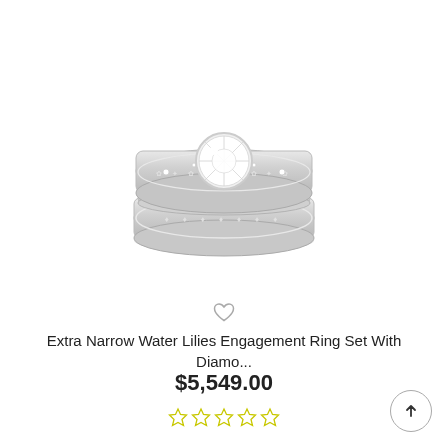[Figure (photo): Three stacked silver rings with floral/water lily engraving pattern. The center ring features a round brilliant-cut diamond solitaire in a bezel-style setting. The rings are photographed against a white background.]
♡
Extra Narrow Water Lilies Engagement Ring Set With Diamo...
$5,549.00
[Figure (other): Five empty/outline star rating icons in yellow-green color, indicating no reviews yet.]